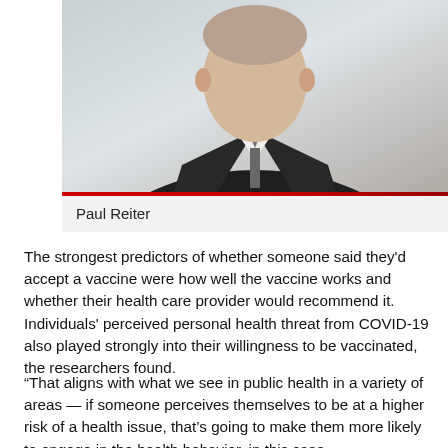[Figure (photo): Headshot photo of Paul Reiter, a man in a dark suit jacket with white dress shirt and striped tie, photographed from approximately chest up]
Paul Reiter
The strongest predictors of whether someone said they'd accept a vaccine were how well the vaccine works and whether their health care provider would recommend it. Individuals' perceived personal health threat from COVID-19 also played strongly into their willingness to be vaccinated, the researchers found.
“That aligns with what we see in public health in a variety of areas — if someone perceives themselves to be at a higher risk of a health issue, that’s going to make them more likely to engage in the health behavior, in this case